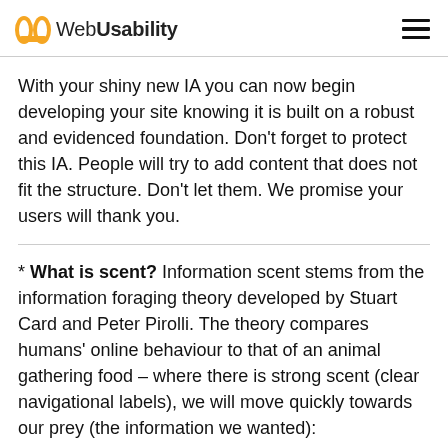Web Usability
With your shiny new IA you can now begin developing your site knowing it is built on a robust and evidenced foundation. Don't forget to protect this IA. People will try to add content that does not fit the structure. Don't let them. We promise your users will thank you.
* What is scent? Information scent stems from the information foraging theory developed by Stuart Card and Peter Pirolli. The theory compares humans' online behaviour to that of an animal gathering food – where there is strong scent (clear navigational labels), we will move quickly towards our prey (the information we wanted):